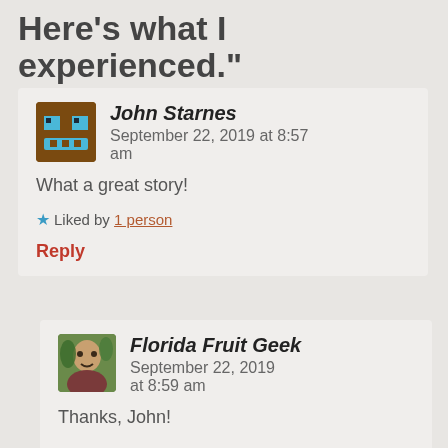Here’s what I experienced.”
John Starnes  September 22, 2019 at 8:57 am
What a great story!
★ Liked by 1 person
Reply
Florida Fruit Geek  September 22, 2019 at 8:59 am
Thanks, John!